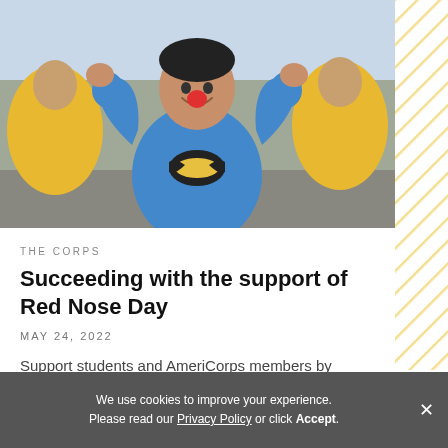[Figure (photo): A smiling child wearing a blue Batman t-shirt with a red clown nose, flexing both arms. Other children in yellow jackets are visible in the background.]
THE CORPS
Succeeding with the support of Red Nose Day
MAY 24, 2022
Support students and AmeriCorps members by putting your noses on and supporting the Red Nose Day campaign!
We use cookies to improve your experience. Please read our Privacy Policy or click Accept.